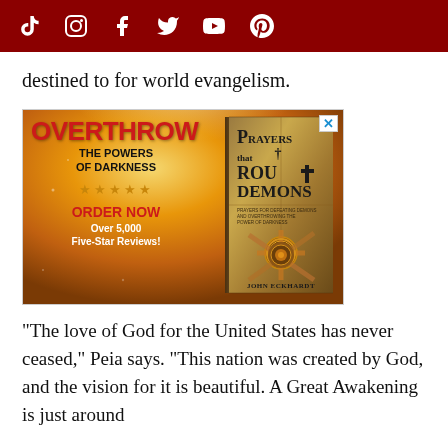Social media icons: TikTok, Instagram, Facebook, Twitter, YouTube, Pinterest
destined to for world evangelism.
[Figure (photo): Advertisement for book 'Prayers that Rout Demons' by John Eckhardt. Left side shows text: OVERTHROW THE POWERS OF DARKNESS, five stars, ORDER NOW, Over 5,000 Five-Star Reviews! Right side shows the book cover.]
"The love of God for the United States has never ceased," Peia says. "This nation was created by God, and the vision for it is beautiful. A Great Awakening is just around